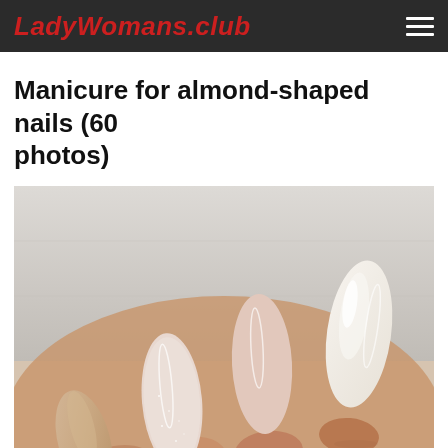LadyWomans.club
Manicure for almond-shaped nails (60 photos)
[Figure (photo): Close-up photograph of a woman's hand with almond-shaped nails painted in soft neutral tones — one nail has a glittery pale pink finish, one has a smooth matte blush pink, one has a cream/ivory glossy finish, and one (thumb) has a warm champagne/nude tone. The nails are long and pointed in the classic almond shape against a soft white textured background.]